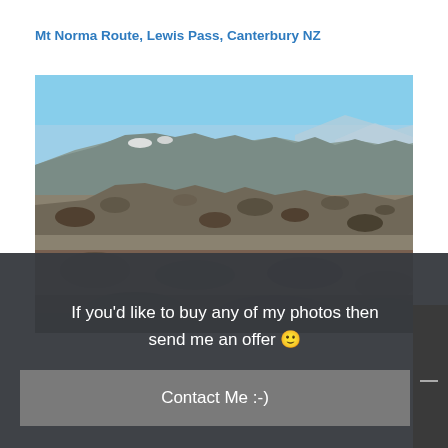Mt Norma Route, Lewis Pass, Canterbury NZ
[Figure (photo): Panoramic mountain landscape photo showing rocky alpine terrain under a blue sky, Mt Norma Route, Lewis Pass, Canterbury NZ]
If you'd like to buy any of my photos then send me an offer 🙂
Contact Me :-)